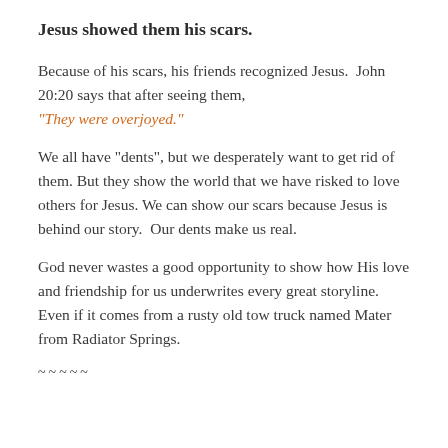Jesus showed them his scars.
Because of his scars, his friends recognized Jesus.  John 20:20 says that after seeing them, “They were overjoyed.”
We all have “dents”, but we desperately want to get rid of them. But they show the world that we have risked to love others for Jesus. We can show our scars because Jesus is behind our story.  Our dents make us real.
God never wastes a good opportunity to show how His love and friendship for us underwrites every great storyline.  Even if it comes from a rusty old tow truck named Mater from Radiator Springs.
~~~~~